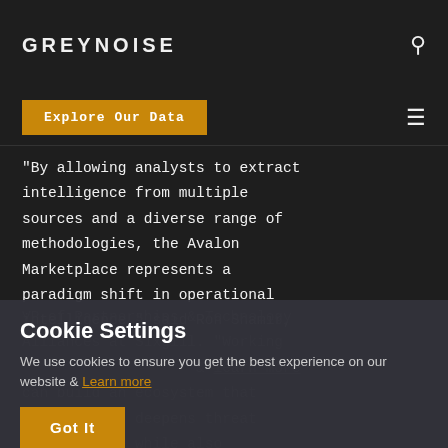GREYNOISE
Explore Our Data
"By allowing analysts to extract intelligence from multiple sources and a diverse range of methodologies, the Avalon Marketplace represents a paradigm shift in operational intelligence," said Ron Shamir, VP of Partnerships & Technology Alliances at Sixgill. "Working with Recorded Future & learn more can build an ecosystem that enriches and deepens threat intelligence while also
Cookie Settings
We use cookies to ensure you get the best experience on our website & Learn more
Got It